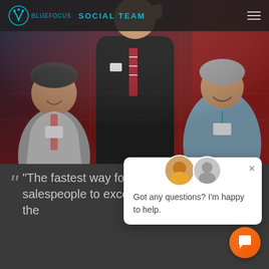SOCIAL TEAM
[Figure (photo): Conference/event photo showing a man in a black suit speaking at a podium or stage, with two other people visible behind him smiling — one in a light suit with a pink tie, one in a light blue outfit. Red background visible.]
[Figure (screenshot): Chat popup widget with two avatars, a close (X) button, and text reading: Got any questions? I'm happy to help.]
“The fastest way for leaders and salespeople to excel is to master the art of the